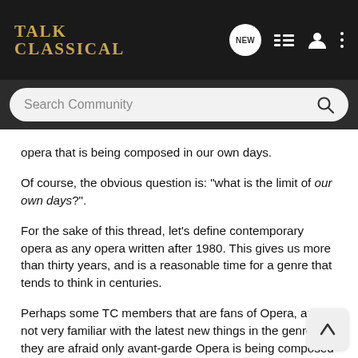TALK CLASSICAL
opera that is being composed in our own days.
Of course, the obvious question is: "what is the limit of our own days?".
For the sake of this thread, let's define contemporary opera as any opera written after 1980. This gives us more than thirty years, and is a reasonable time for a genre that tends to think in centuries.
Perhaps some TC members that are fans of Opera, are not very familiar with the latest new things in the genre. Or they are afraid only avant-garde Opera is being composed now. We will see that this is not the case, not by any means. There are new operas for (almost) everyone to enjoy, no matter what is our